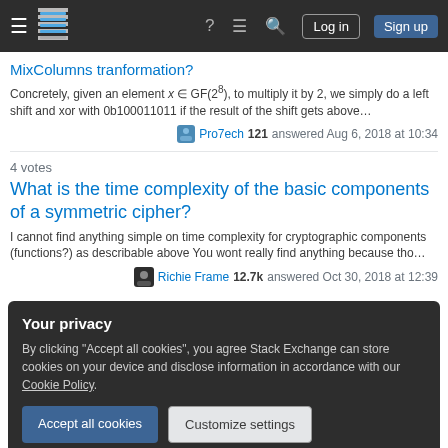Stack Exchange navigation bar with hamburger, logo, help, chat, search, Log in, Sign up
MixColumns tranformation?
Concretely, given an element x ∈ GF(2^8), to multiply it by 2, we simply do a left shift and xor with 0b100011011 if the result of the shift gets above…
Pro7ech 121 answered Aug 6, 2018 at 10:34
4 votes
What is the time complexity of the basic components of a symmetric cipher?
I cannot find anything simple on time complexity for cryptographic components (functions?) as describable above You wont really find anything because tho…
Richie Frame 12.7k answered Oct 30, 2018 at 12:39
Your privacy
By clicking "Accept all cookies", you agree Stack Exchange can store cookies on your device and disclose information in accordance with our Cookie Policy.
Accept all cookies
Customize settings